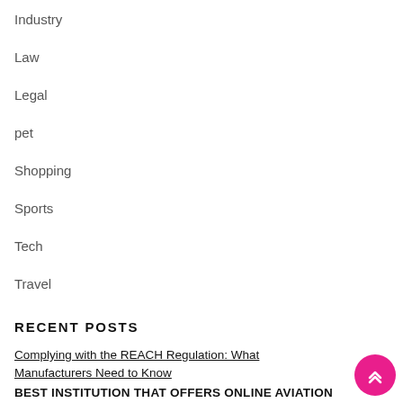Industry
Law
Legal
pet
Shopping
Sports
Tech
Travel
RECENT POSTS
Complying with the REACH Regulation: What Manufacturers Need to Know
BEST INSTITUTION THAT OFFERS ONLINE AVIATION